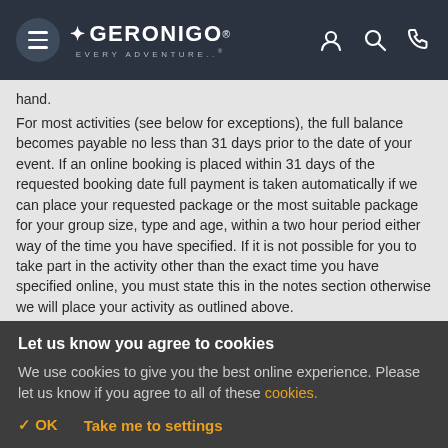GERONIGO EVERY ADVENTURE. [navigation header with menu, account, search, phone icons]
hand.
For most activities (see below for exceptions), the full balance becomes payable no less than 31 days prior to the date of your event. If an online booking is placed within 31 days of the requested booking date full payment is taken automatically if we can place your requested package or the most suitable package for your group size, type and age, within a two hour period either way of the time you have specified. If it is not possible for you to take part in the activity other than the exact time you have specified online, you must state this in the notes section otherwise we will place your activity as outlined above.
If you have paid your deposit by card, your balance payment
Let us know you agree to cookies
We use cookies to give you the best online experience. Please let us know if you agree to all of these cookies.
✓ OK   Take me to settings